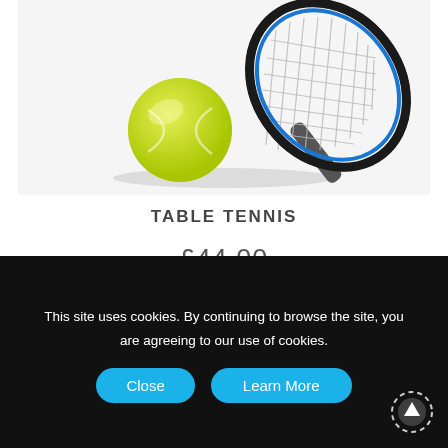[Figure (photo): Tennis ball and racket on a light grey background]
TABLE TENNIS
£44.00
[Figure (photo): Partial view of next product image (grey box)]
This site uses cookies. By continuing to browse the site, you are agreeing to our use of cookies.
Close   Learn More